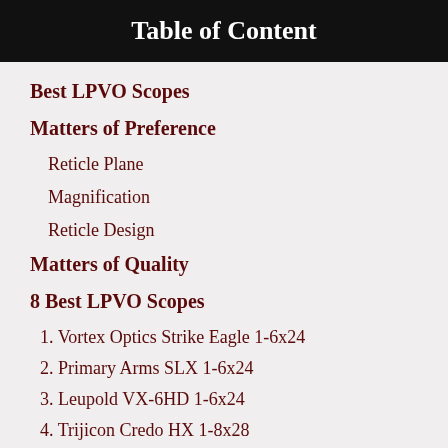Table of Content
Best LPVO Scopes
Matters of Preference
Reticle Plane
Magnification
Reticle Design
Matters of Quality
8 Best LPVO Scopes
1. Vortex Optics Strike Eagle 1-6x24
2. Primary Arms SLX 1-6x24
3. Leupold VX-6HD 1-6x24
4. Trijicon Credo HX 1-8x28
5. Vortex Viper PST Gen II 1-6x